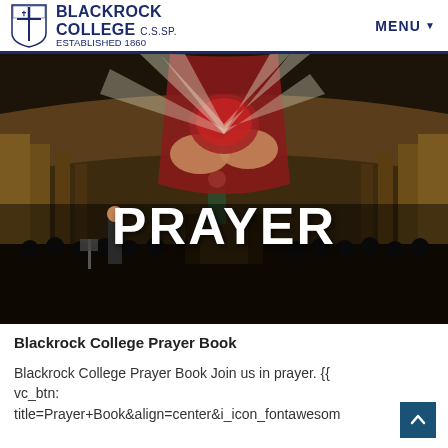BLACKROCK COLLEGE C.S.Sp. ESTABLISHED 1860 | MENU
[Figure (photo): Church interior with congregation attending a prayer service, overlaid with a large religious painting of hands holding a sacred heart with thorns, and the word PRAYER in large white bold text]
Blackrock College Prayer Book
Blackrock College Prayer Book Join us in prayer. {{ vc_btn: title=Prayer+Book&align=center&i_icon_fontawesom